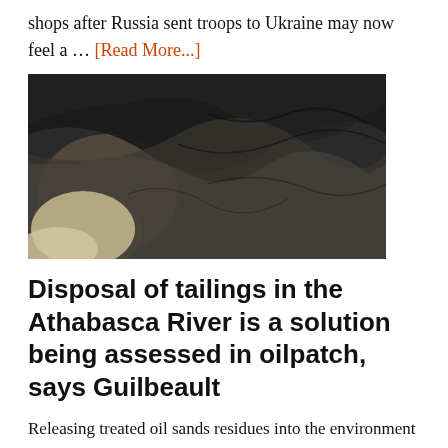shops after Russia sent troops to Ukraine may now feel a … [Read More...]
[Figure (photo): Aerial or close-up view of oil sands tailings or dark river/land surface with rock formations]
Disposal of tailings in the Athabasca River is a solution being assessed in oilpatch, says Guilbeault
Releasing treated oil sands residues into the environment isn't the only solution being considered to clean up the vast toxic ponds in northern … [Read More...]
[Figure (photo): Partial view of people or crowd, bottom of page]